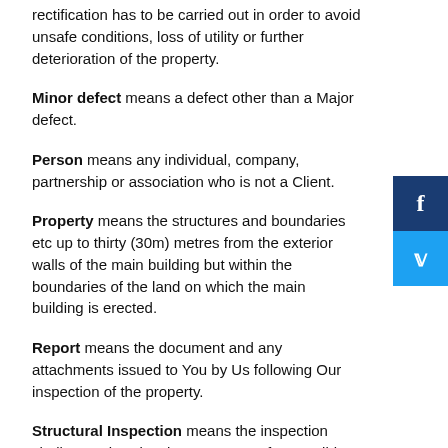rectification has to be carried out in order to avoid unsafe conditions, loss of utility or further deterioration of the property.
Minor defect means a defect other than a Major defect.
Person means any individual, company, partnership or association who is not a Client.
Property means the structures and boundaries etc up to thirty (30m) metres from the exterior walls of the main building but within the boundaries of the land on which the main building is erected.
Report means the document and any attachments issued to You by Us following Our inspection of the property.
Structural Inspection means the inspection shall comprise visual assessment of accessible areas of the property to identify major defects to the building structure and to form an opinion regarding the general condition of the structure of the property. The Report will not include those items noted in Clause A3 of AS 4349.1-2007 e.g. Condition of roof coverings, partition walls, cabinetry, doors, trims, fencing, minor structures, ceiling linings, windows, non-